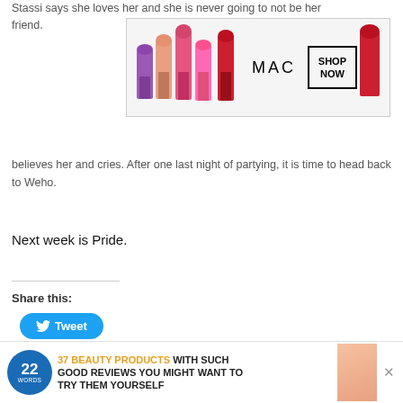Stassi says she loves her and she is never going to not be her friend. [AD] fuck her ov[er] believes her and cries. After one last night of partying, it is time to head back to Weho.
[Figure (screenshot): MAC Cosmetics advertisement banner with colorful lipsticks and SHOP NOW button]
Next week is Pride.
Share this:
[Figure (other): Tweet button in blue with Twitter bird icon]
Related
[Figure (photo): Vanderpump Rules cast group photo thumbnail]
[Figure (photo): Woman with brown hair laughing, with CLOSE button overlay]
Vande
There
[Figure (screenshot): 22 Words advertisement: 37 BEAUTY PRODUCTS WITH SUCH GOOD REVIEWS YOU MIGHT WANT TO TRY THEM YOURSELF]